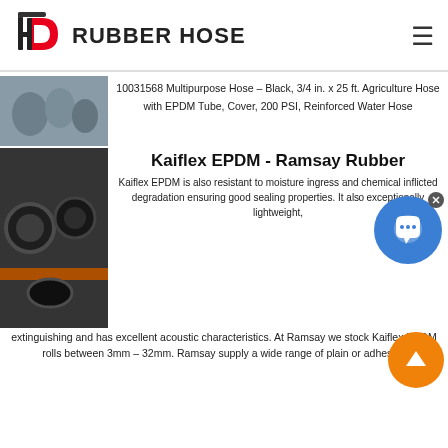[Figure (logo): HD Rubber Hose logo with stylized red and black HD letters and hose graphic]
RUBBER HOSE
[Figure (photo): Photo of grey industrial hose fittings/elbows]
10031568 Multipurpose Hose – Black, 3/4 in. x 25 ft. Agriculture Hose with EPDM Tube, Cover, 200 PSI, Reinforced Water Hose
[Figure (photo): Photo of black rubber hose rolls on orange display rack]
Kaiflex EPDM - Ramsay Rubber
Kaiflex EPDM is also resistant to moisture ingress and chemical inflicted degradation ensuring good sealing properties. It also is exceptionally lightweight, self-extinguishing and has excellent acoustic characteristics. At Ramsay we stock Kaiflex EPDM rolls between 3mm – 32mm. Ramsay supply a wide range of plain or adhesive